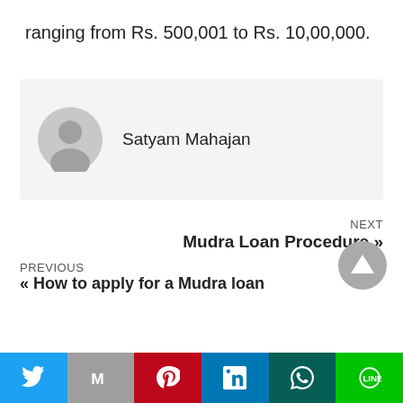ranging from Rs. 500,001 to Rs. 10,00,000.
[Figure (other): Author avatar placeholder (grey circle with person silhouette) next to author name 'Satyam Mahajan']
Satyam Mahajan
NEXT
Mudra Loan Procedure »
PREVIOUS
« How to apply for a Mudra loan